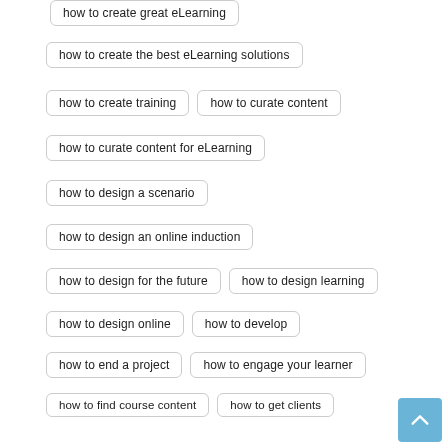how to create the best eLearning solutions
how to create training
how to curate content
how to curate content for eLearning
how to design a scenario
how to design an online induction
how to design for the future
how to design learning
how to design online
how to develop
how to end a project
how to engage your learner
how to find course content
how to get clients
how to grow
how to improve healthcare
how to improve learner memory
how to improve retention in training
how to increase learning retention